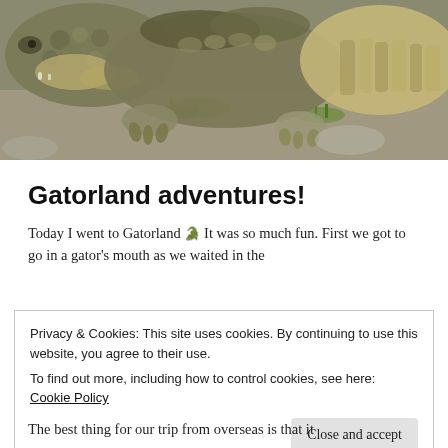[Figure (photo): Close-up photograph of a large alligator or crocodile resting on rocky ground with grass visible, showing detailed scaly skin texture in brown, grey, and tan colors.]
Gatorland adventures!
Today I went to Gatorland 🐊 It was so much fun. First we got to go in a gator's mouth as we waited in the
Privacy & Cookies: This site uses cookies. By continuing to use this website, you agree to their use.
To find out more, including how to control cookies, see here: Cookie Policy
[Close and accept]
The best thing for our trip from overseas is that it